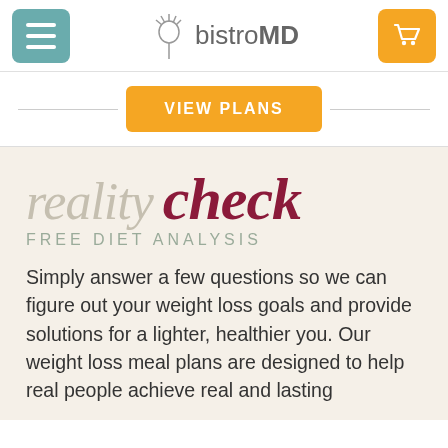bistroMD — navigation header with menu button and cart button
[Figure (screenshot): Orange VIEW PLANS button centered between horizontal lines]
reality check FREE DIET ANALYSIS
Simply answer a few questions so we can figure out your weight loss goals and provide solutions for a lighter, healthier you. Our weight loss meal plans are designed to help real people achieve real and lasting